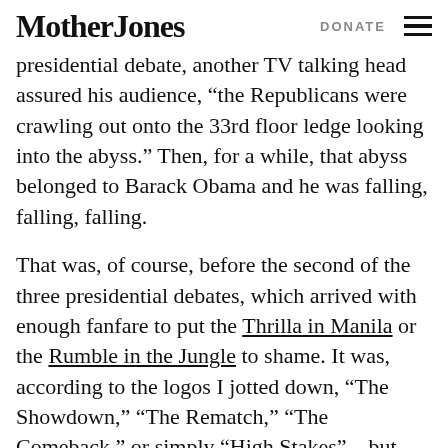Mother Jones | DONATE
presidential debate, another TV talking head assured his audience, “the Republicans were crawling out onto the 33rd floor ledge looking into the abyss.” Then, for a while, that abyss belonged to Barack Obama and he was falling, falling, falling.
That was, of course, before the second of the three presidential debates, which arrived with enough fanfare to put the Thrilla in Manila or the Rumble in the Jungle to shame. It was, according to the logos I jotted down, “The Showdown,” “The Rematch,” “The Comeback,” or simply “High Stakes”—but what wasn’t in this election season? Of course, Romney and Obama weren’t doing something as mundane as simply debating each other for an hour